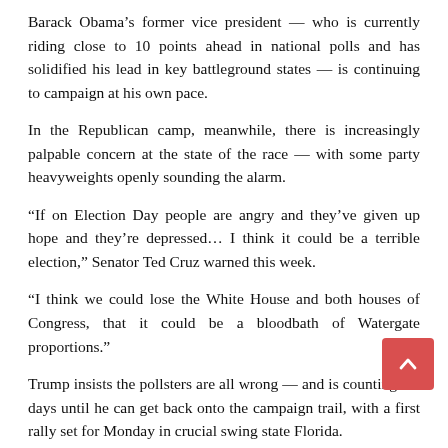Barack Obama's former vice president — who is currently riding close to 10 points ahead in national polls and has solidified his lead in key battleground states — is continuing to campaign at his own pace.
In the Republican camp, meanwhile, there is increasingly palpable concern at the state of the race — with some party heavyweights openly sounding the alarm.
“If on Election Day people are angry and they’ve given up hope and they’re depressed… I think it could be a terrible election,” Senator Ted Cruz warned this week.
“I think we could lose the White House and both houses of Congress, that it could be a bloodbath of Watergate proportions.”
Trump insists the pollsters are all wrong — and is counting the days until he can get back onto the campaign trail, with a first rally set for Monday in crucial swing state Florida.